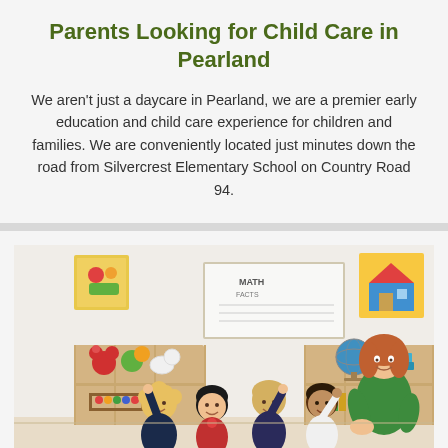Parents Looking for Child Care in Pearland
We aren't just a daycare in Pearland, we are a premier early education and child care experience for children and families. We are conveniently located just minutes down the road from Silvercrest Elementary School on Country Road 94.
[Figure (photo): A teacher in a green polo shirt sitting with four young children in a colorful classroom, with shelves of toys and books in the background. Children are raising their hands.]